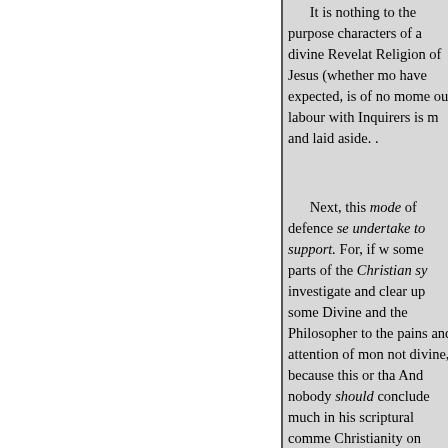It is nothing to the purpose characters of a divine Revelat Religion of Jesus (whether mo have expected, is of no mome our labour with Inquirers is m and laid aside. .
Next, this mode of defence se undertake to support. For, if w some parts of the Christian sy investigate and clear up some Divine and the Philosopher to the pains and attention of mon not divine, because this or tha And nobody should conclude much in his scriptural comme Christianity on principles not physical theories on principles only the labour of each is lost taken for what it is unskilfully system has in fact been revile